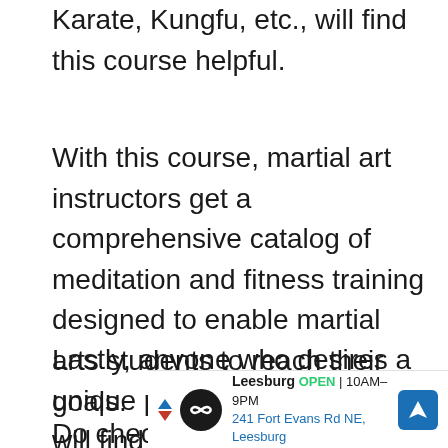Karate, Kungfu, etc., will find this course helpful.
With this course, martial art instructors get a comprehensive catalog of meditation and fitness training designed to enable martial arts students to reach their goals.
Lastly, anyone who desires a unique perspective on fitness will find the course valuable.
Do check our courses for crystal healing and